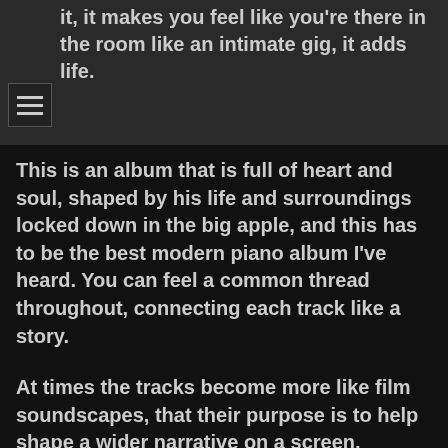it, it makes you feel like you're there in the room like an intimate gig, it adds life.
This is an album that is full of heart and soul, shaped by his life and surroundings locked down in the big apple, and this has to be the best modern piano album I've heard. You can feel a common thread throughout, connecting each track like a story.
At times the tracks become more like film soundscapes, that their purpose is to help shape a wider narrative on a screen, sealing in the emotion of what you're watching. This is a perfect album to put on and sit back and relax at home. I really can't recommend this enough!